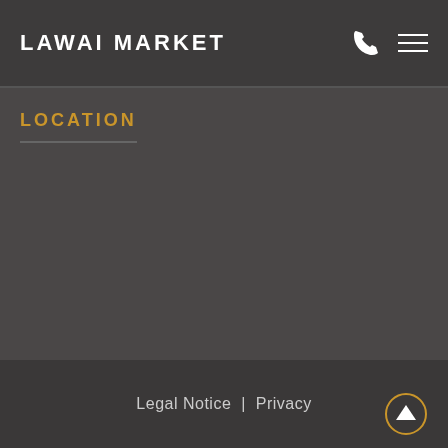LAWAI MARKET
LOCATION
Legal Notice | Privacy